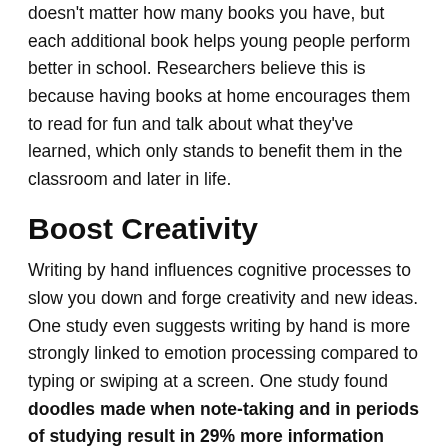doesn't matter how many books you have, but each additional book helps young people perform better in school. Researchers believe this is because having books at home encourages them to read for fun and talk about what they've learned, which only stands to benefit them in the classroom and later in life.
Boost Creativity
Writing by hand influences cognitive processes to slow you down and forge creativity and new ideas. One study even suggests writing by hand is more strongly linked to emotion processing compared to typing or swiping at a screen. One study found doodles made when note-taking and in periods of studying result in 29% more information retention. If you still want some digital options, consider a smartpen that allows you to write the text in a natural way. Smartpens stores the written contents as it is transferred to display